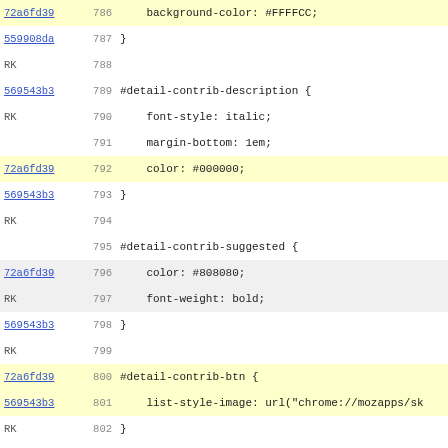[Figure (screenshot): Code viewer screenshot showing CSS source lines 786-818 with commit annotations (72a6fd39, 559908da, RK, 569543b3, 72a6fd39, etc.) on the left, line numbers in the center, and CSS code on the right. Alternating highlighted rows for certain commits.]